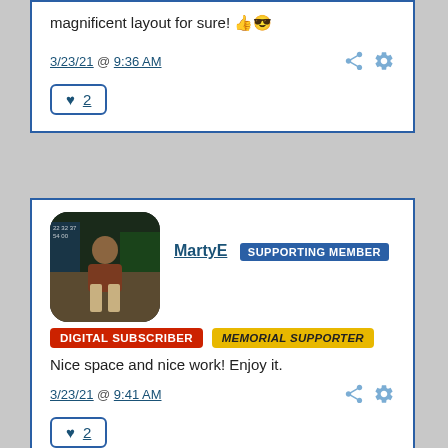magnificent layout for sure! 👍😎
3/23/21 @ 9:36 AM
♥ 2
[Figure (photo): User avatar photo of MartyE, a person sitting in what appears to be a TV studio set]
MartyE SUPPORTING MEMBER
DIGITAL SUBSCRIBER   MEMORIAL SUPPORTER
Nice space and nice work!  Enjoy it.
3/23/21 @ 9:41 AM
♥ 2